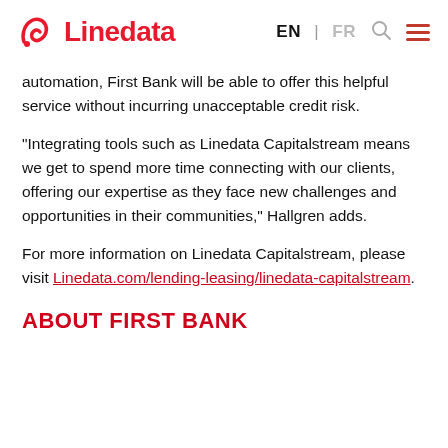Linedata | EN | FR
automation, First Bank will be able to offer this helpful service without incurring unacceptable credit risk.
"Integrating tools such as Linedata Capitalstream means we get to spend more time connecting with our clients, offering our expertise as they face new challenges and opportunities in their communities," Hallgren adds.
For more information on Linedata Capitalstream, please visit Linedata.com/lending-leasing/linedata-capitalstream.
ABOUT FIRST BANK